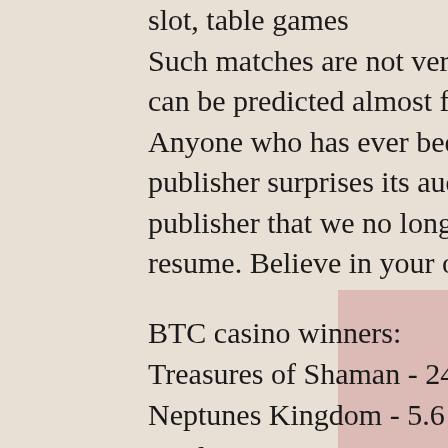slot, table games Such matches are not very interesting for fans to watch: the outcome can be predicted almost for sure. What is the European Handicap? Anyone who has ever been to a P. Once again, the avant-garde game publisher surprises its audience with Max Quest Betsoft Betsoft is a publisher that we no longer present, casino slot assistant manager resume. Believe in your oracle!
BTC casino winners:
Treasures of Shaman - 246.1 dog
Neptunes Kingdom - 5.6 usdt
Merlins Magic Respins Christmas - 704.2 eth
Halloween - 407.8 btc
Steam Tower - 474.6 ltc
Legend of the White Snake Lady - 241.3 btc
Tesoro Pirata - 691 eth
Doublin Gold - 475.7 ltc
Sticky Diamonds - 271.3 dog
Aura of Jupiter moorhuhn Shooter - 581.9